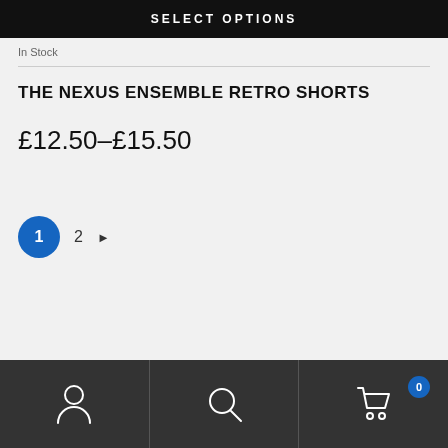[Figure (screenshot): Black SELECT OPTIONS button bar at top]
In Stock
THE NEXUS ENSEMBLE RETRO SHORTS
£12.50–£15.50
1  2  ▶
[Figure (screenshot): Bottom navigation bar with account, search, and cart icons on dark background. Cart has badge showing 0.]